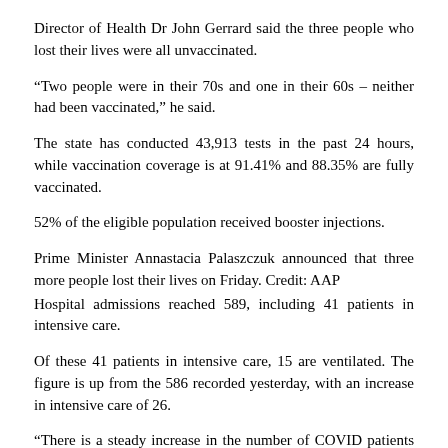Director of Health Dr John Gerrard said the three people who lost their lives were all unvaccinated.
“Two people were in their 70s and one in their 60s – neither had been vaccinated,” he said.
The state has conducted 43,913 tests in the past 24 hours, while vaccination coverage is at 91.41% and 88.35% are fully vaccinated.
52% of the eligible population received booster injections.
Prime Minister Annastacia Palaszczuk announced that three more people lost their lives on Friday. Credit: AAP
Hospital admissions reached 589, including 41 patients in intensive care.
Of these 41 patients in intensive care, 15 are ventilated. The figure is up from the 586 recorded yesterday, with an increase in intensive care of 26.
“There is a steady increase in the number of COVID patients in hospitals – it’s not an explosive increase, it’s a steady increase,” Dr. Gerrard said.